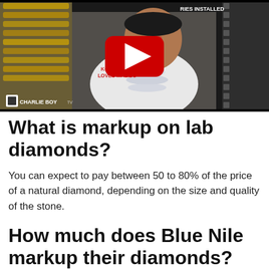[Figure (screenshot): YouTube video thumbnail showing a man in a white t-shirt reading 'KOREN OWN LOVES MALIBU' wearing diamond chains, inside a jewelry store. YouTube play button overlay visible. Channel name 'CHARLIE BOY' shown at bottom left.]
What is markup on lab diamonds?
You can expect to pay between 50 to 80% of the price of a natural diamond, depending on the size and quality of the stone.
How much does Blue Nile markup their diamonds?